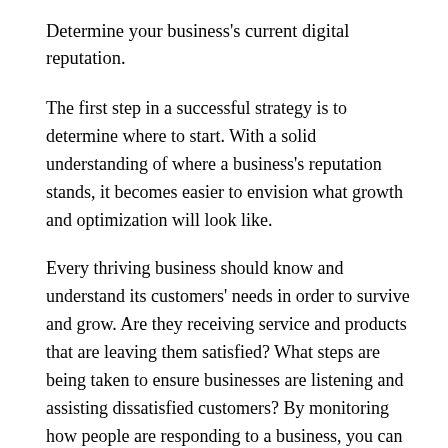Determine your business's current digital reputation.
The first step in a successful strategy is to determine where to start. With a solid understanding of where a business's reputation stands, it becomes easier to envision what growth and optimization will look like.
Every thriving business should know and understand its customers' needs in order to survive and grow. Are they receiving service and products that are leaving them satisfied? What steps are being taken to ensure businesses are listening and assisting dissatisfied customers? By monitoring how people are responding to a business, you can identify the sentiments of customers.
This process can be done with a survey to customers, calling and interviewing the most loyal customers, or even utilizing listening software to aggregate reviews and mentions. Be sure to visit popular review sites to gauge feedback, from sites like Better Business Bureau, Google and Yelp.